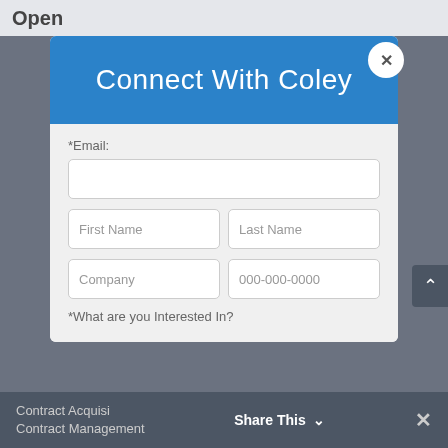Open
Connect With Coley
*Email:
First Name
Last Name
Company
000-000-0000
*What are you Interested In?
Contract Acquisition
Contract Management
Share This